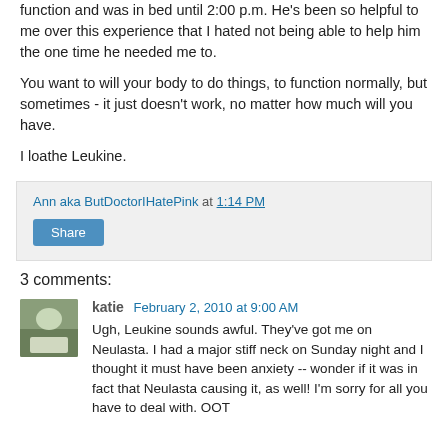function and was in bed until 2:00 p.m. He's been so helpful to me over this experience that I hated not being able to help him the one time he needed me to.
You want to will your body to do things, to function normally, but sometimes - it just doesn't work, no matter how much will you have.
I loathe Leukine.
Ann aka ButDoctorIHatePink at 1:14 PM
Share
3 comments:
katie February 2, 2010 at 9:00 AM
Ugh, Leukine sounds awful. They've got me on Neulasta. I had a major stiff neck on Sunday night and I thought it must have been anxiety -- wonder if it was in fact that Neulasta causing it, as well! I'm sorry for all you have to deal with. OOT